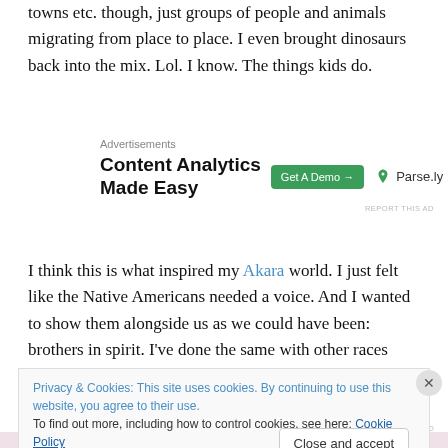towns etc. though, just groups of people and animals migrating from place to place. I even brought dinosaurs back into the mix. Lol. I know. The things kids do.
[Figure (infographic): Advertisement banner for Parse.ly: 'Content Analytics Made Easy' with a green 'Get A Demo →' button and the Parse.ly logo with leaf icon.]
I think this is what inspired my Akara world. I just felt like the Native Americans needed a voice. And I wanted to show them alongside us as we could have been: brothers in spirit. I've done the same with other races within the
Privacy & Cookies: This site uses cookies. By continuing to use this website, you agree to their use.
To find out more, including how to control cookies, see here: Cookie Policy
Close and accept